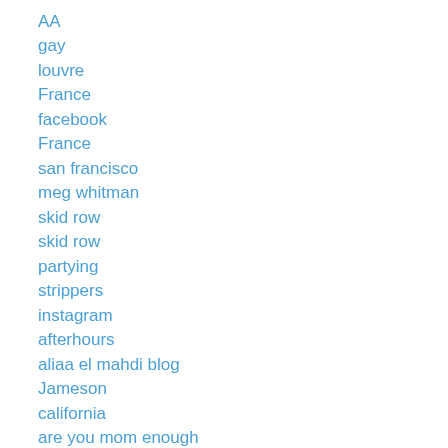AA
gay
louvre
France
facebook
France
san francisco
meg whitman
skid row
skid row
partying
strippers
instagram
afterhours
aliaa el mahdi blog
Jameson
california
are you mom enough
beer
TV